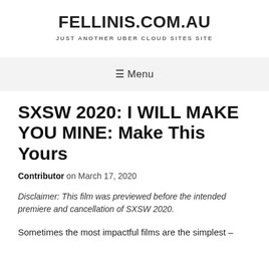FELLINIS.COM.AU
JUST ANOTHER UBER CLOUD SITES SITE
☰ Menu
SXSW 2020: I WILL MAKE YOU MINE: Make This Yours
Contributor on March 17, 2020
Disclaimer: This film was previewed before the intended premiere and cancellation of SXSW 2020.
Sometimes the most impactful films are the simplest –